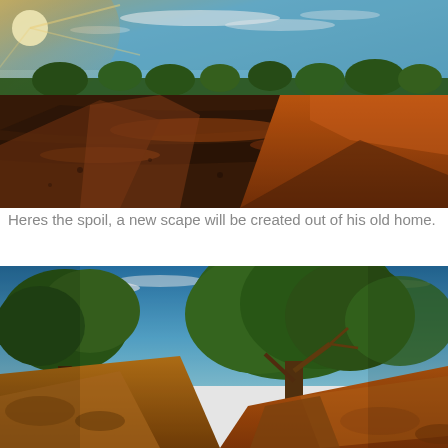[Figure (photo): Outdoor photograph of an excavated construction site at golden hour/sunset. Large mounds of orange-brown earth/spoil dominate the right side, with a wide disturbed area extending left. Trees line the horizon in the background under a blue sky with wispy clouds. Strong warm sunlight from the upper left.]
Heres the spoil, a new scape will be created out of his old home.
[Figure (photo): Outdoor photograph taken from ground level looking up at large mature trees (green leafy canopy) against a vivid blue sky with light clouds. In the foreground are large mounds of sandy/orange excavated earth and soil. The base of a central tree trunk is visible rising from the disturbed soil.]